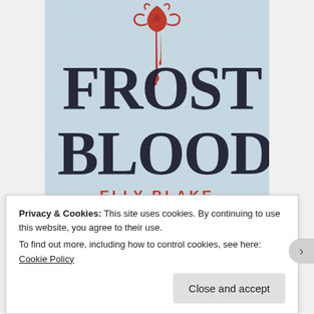[Figure (illustration): Book cover of 'Frost Blood' by Elly Blake. Icy/snowy white-blue background with large dark stylized text 'FROST BLOOD'. A decorative red ornamental symbol at the top with blood dripping down through the letters. Author name 'ELLY BLAKE' in red text at the bottom.]
Privacy & Cookies: This site uses cookies. By continuing to use this website, you agree to their use.
To find out more, including how to control cookies, see here: Cookie Policy
Close and accept